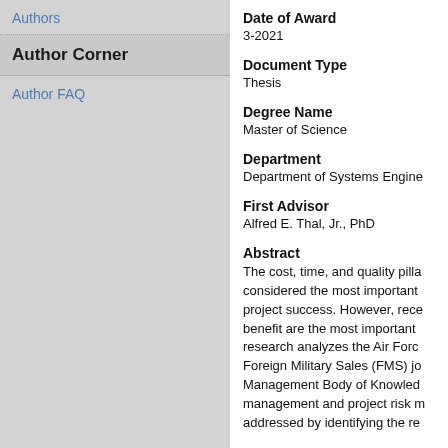Authors
Author Corner
Author FAQ
Date of Award
3-2021
Document Type
Thesis
Degree Name
Master of Science
Department
Department of Systems Engine...
First Advisor
Alfred E. Thal, Jr., PhD
Abstract
The cost, time, and quality pilla... considered the most important... project success. However, rece... benefit are the most important... research analyzes the Air Forc... Foreign Military Sales (FMS) jo... Management Body of Knowled... management and project risk m... addressed by identifying the re...